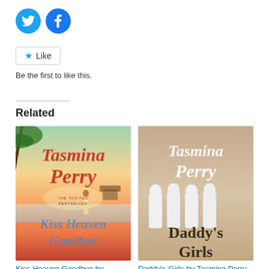[Figure (illustration): Twitter and Facebook social sharing circular icon buttons in blue]
[Figure (illustration): Like button with star icon and text 'Like']
Be the first to like this.
Related
[Figure (photo): Book cover: Kiss Heaven Goodbye by Tasmina Perry. Shows a woman on a tropical beach at sunset with palm trees and the author's name in red script.]
Kiss Heaven Goodbye by Tasmina Perry
[Figure (photo): Book cover: Daddy's Girls by Tasmina Perry. Shows four women in white outfits on a beige/tan background with the author's name in white script.]
Daddy's Girls by Tasmina Perry